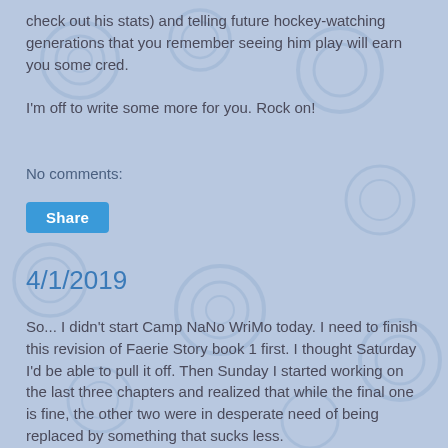check out his stats) and telling future hockey-watching generations that you remember seeing him play will earn you some cred.
I'm off to write some more for you. Rock on!
No comments:
Share
4/1/2019
So... I didn't start Camp NaNo WriMo today. I need to finish this revision of Faerie Story book 1 first. I thought Saturday I'd be able to pull it off. Then Sunday I started working on the last three chapters and realized that while the final one is fine, the other two were in desperate need of being replaced by something that sucks less.
Writing is actually really easy. Writing something decent is